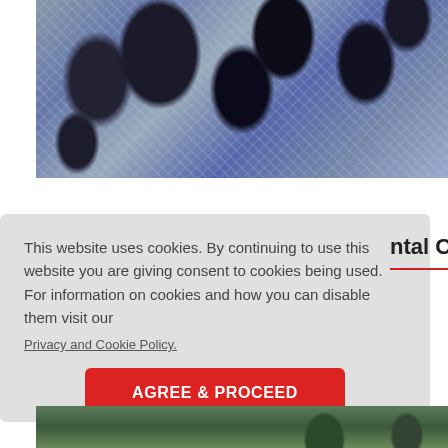[Figure (photo): Crowd of students or people from behind, wearing light blue/white shirts, gathered closely together]
This website uses cookies. By continuing to use this website you are giving consent to cookies being used. For information on cookies and how you can disable them visit our
Privacy and Cookie Policy.
AGREE & PROCEED
ntal Col
[Figure (photo): Partial outdoor scene with trees visible at bottom of page]